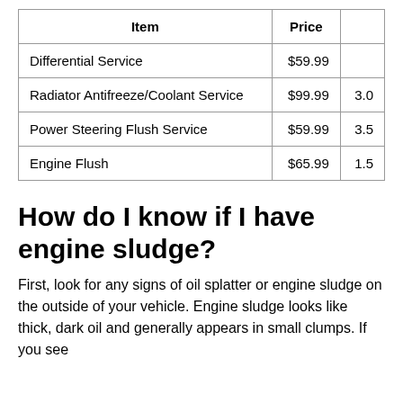| Item | Price |  |
| --- | --- | --- |
| Differential Service | $59.99 |  |
| Radiator Antifreeze/Coolant Service | $99.99 | 3.0 |
| Power Steering Flush Service | $59.99 | 3.5 |
| Engine Flush | $65.99 | 1.5 |
How do I know if I have engine sludge?
First, look for any signs of oil splatter or engine sludge on the outside of your vehicle. Engine sludge looks like thick, dark oil and generally appears in small clumps. If you see